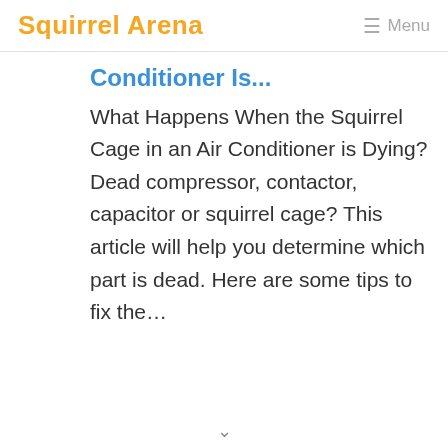Squirrel Arena  ☰ Menu
Conditioner Is...
What Happens When the Squirrel Cage in an Air Conditioner is Dying?Dead compressor, contactor, capacitor or squirrel cage? This article will help you determine which part is dead. Here are some tips to fix the...